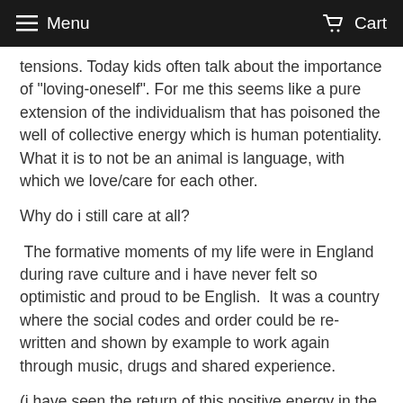Menu  Cart
tensions. Today kids often talk about the importance of "loving-oneself". For me this seems like a pure extension of the individualism that has poisoned the well of collective energy which is human potentiality. What it is to not be an animal is language, with which we love/care for each other.
Why do i still care at all?
The formative moments of my life were in England during rave culture and i have never felt so optimistic and proud to be English.  It was a country where the social codes and order could be re-written and shown by example to work again through music, drugs and shared experience.
(i have seen the return of this positive energy in the protests of XR, what ever you think about white middle class people